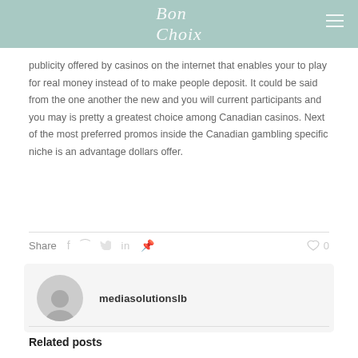Bon Choix
publicity offered by casinos on the internet that enables your to play for real money instead of to make people deposit. It could be said from the one another the new and you will current participants and you may is pretty a greatest choice among Canadian casinos. Next of the most preferred promos inside the Canadian gambling specific niche is an advantage dollars offer.
Share  f  t  in  P  0
mediasolutionslb
Related posts